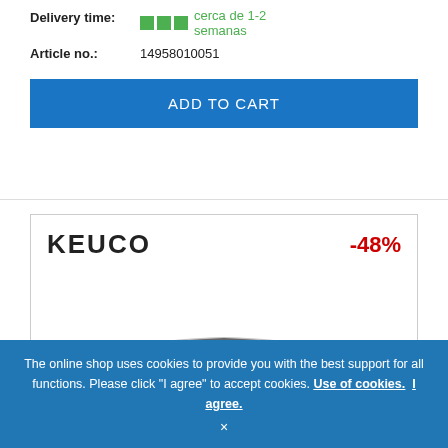Delivery time: cerca de 1-2 semanas
Article no.: 14958010051
ADD TO CART
[Figure (photo): KEUCO brand logo with -48% discount badge and product image of a black rectangular bathroom tray/shelf with chrome edges]
The online shop uses cookies to provide you with the best support for all functions. Please click "I agree" to accept cookies. Use of cookies. I agree. ×